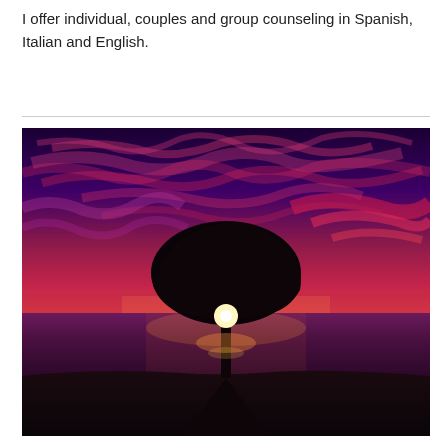I offer individual, couples and group counseling in Spanish, Italian and English.
[Figure (photo): A dramatic sunset photograph showing a solitary tree with a broad dark canopy silhouetted against a vivid purple and red sky with wispy clouds. The tree is positioned on a dark promontory above a still purple water body. A bright glowing light emanates from the base of the tree's canopy, reflecting on the water below.]